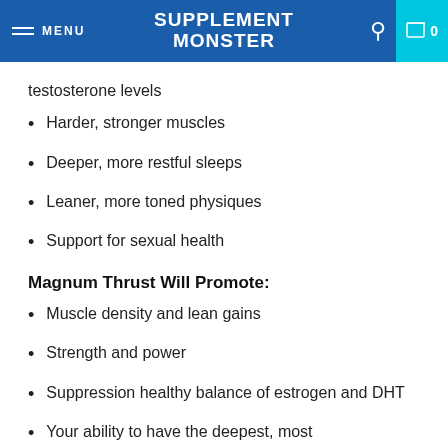MENU | SUPPLEMENT MONSTER | 0
testosterone levels
Harder, stronger muscles
Deeper, more restful sleeps
Leaner, more toned physiques
Support for sexual health
Magnum Thrust Will Promote:
Muscle density and lean gains
Strength and power
Suppression healthy balance of estrogen and DHT
Your ability to have the deepest, most